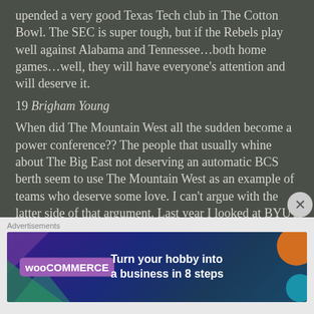upended a very good Texas Tech club in The Cotton Bowl. The SEC is super tough, but if the Rebels play well against Alabama and Tennessee...both home games...well, they will have everyone's attention and will deserve it.
19 Brigham Young
When did The Mountain West all the sudden become a power conference?? The people that usually whine about The Big East not deserving an automatic BCS berth seem to use The Mountain West as an example of teams who deserve some love. I can't argue with the latter side of that argument. Last year I looked at BYU's schedule and predicted them to finish undefeated and in the top 5. I'm not quite as generous this go round, but I don't think 9 wins is out of the
[Figure (infographic): WooCommerce advertisement banner: 'Turn your hobby into a business in 8 steps']